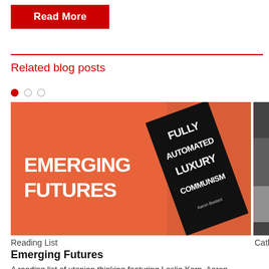Read More
Related blog posts
[Figure (illustration): Blog post thumbnail showing an orange background with white bold text 'EMERGING FUTURES' on the left, and a black book titled 'FULLY AUTOMATED LUXURY COMMUNISM' by Aaron Bastani leaning diagonally on the right.]
Reading List
Emerging Futures
A reading list of utopian thinking featuring Leslie Kern, Aaron Bastani, James Bridle, Andrea Long Chu, and Lizzie O'Shea.
[Figure (photo): Partial view of a second blog post image (cropped on the right edge), dark/moody photo.]
Catho